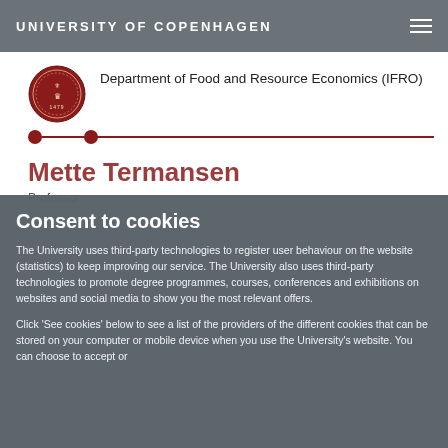UNIVERSITY OF COPENHAGEN
[Figure (logo): University of Copenhagen circular seal/crest logo in dark red]
Department of Food and Resource Economics (IFRO)
Mette Termansen
Professor
Consent to cookies
The University uses third-party technologies to register user behaviour on the website (statistics) to keep improving our service. The University also uses third-party technologies to promote degree programmes, courses, conferences and exhibitions on websites and social media to show you the most relevant offers.
Click 'See cookies' below to see a list of the providers of the different cookies that can be stored on your computer or mobile device when you use the University's website. You can choose to accept or